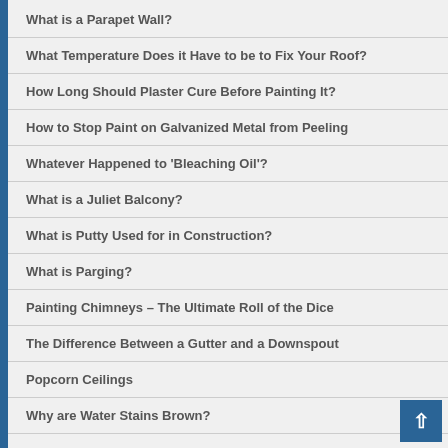What is a Parapet Wall?
What Temperature Does it Have to be to Fix Your Roof?
How Long Should Plaster Cure Before Painting It?
How to Stop Paint on Galvanized Metal from Peeling
Whatever Happened to 'Bleaching Oil'?
What is a Juliet Balcony?
What is Putty Used for in Construction?
What is Parging?
Painting Chimneys – The Ultimate Roll of the Dice
The Difference Between a Gutter and a Downspout
Popcorn Ceilings
Why are Water Stains Brown?